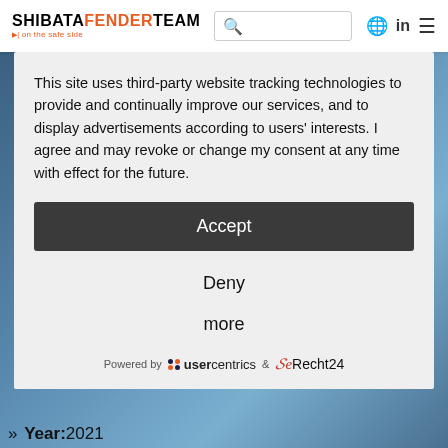SHIBATAFENDERTEAM | on the safe side
This site uses third-party website tracking technologies to provide and continually improve our services, and to display advertisements according to users' interests. I agree and may revoke or change my consent at any time with effect for the future.
Accept
Deny
more
Powered by usercentrics & eRecht24
» Year:2021